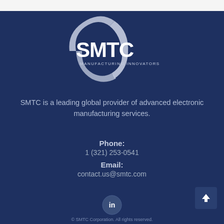[Figure (logo): SMTC Manufacturing Innovators logo — circular swoosh design with SMTC text in white on dark blue background]
SMTC is a leading global provider of advanced electronic manufacturing services.
Phone:
1 (321) 253-0541
Email:
contact.us@smtc.com
[Figure (logo): LinkedIn social media icon — 'in' on circular grey button]
© SMTC Corporation. All rights reserved.